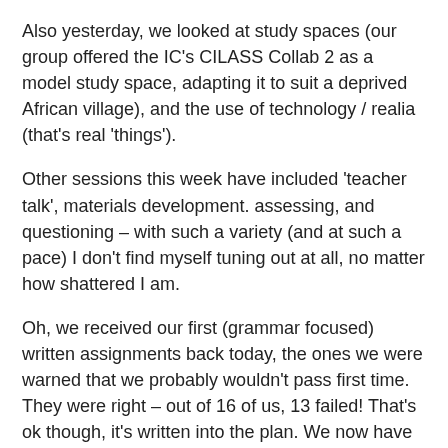Also yesterday, we looked at study spaces (our group offered the IC's CILASS Collab 2 as a model study space, adapting it to suit a deprived African village), and the use of technology / realia (that's real 'things').
Other sessions this week have included 'teacher talk', materials development. assessing, and questioning – with such a variety (and at such a pace) I don't find myself tuning out at all, no matter how shattered I am.
Oh, we received our first (grammar focused) written assignments back today, the ones we were warned that we probably wouldn't pass first time. They were right – out of 16 of us, 13 failed! That's ok though, it's written into the plan. We now have the weekend to go through the incredibly detailed feedback and submit them a second time next week.
Anyway , almost halfway through the intensive course, I'd have no hesitation in recommending CELTA to anyone